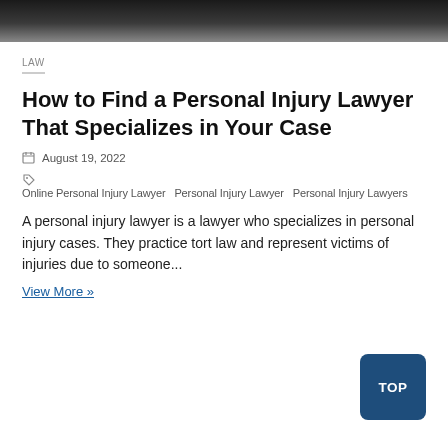[Figure (photo): Dark background photo (leather or dark surface) cropped at top of page]
LAW
How to Find a Personal Injury Lawyer That Specializes in Your Case
August 19, 2022
Online Personal Injury Lawyer  Personal Injury Lawyer  Personal Injury Lawyers
A personal injury lawyer is a lawyer who specializes in personal injury cases. They practice tort law and represent victims of injuries due to someone...
View More »